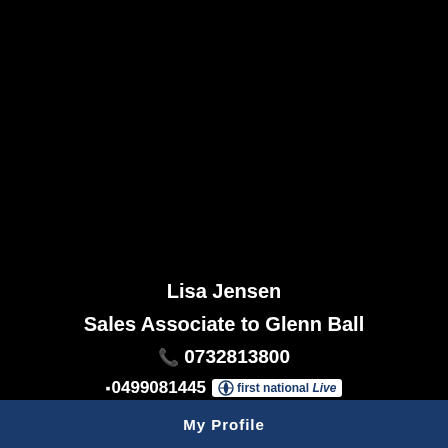[Figure (screenshot): Dark/black background area taking up upper portion of page, likely a mobile app screenshot]
Lisa Jensen
Sales Associate to Glenn Ball
0732813800
0499081445
[Figure (logo): First National Live logo]
Make an offer
My Profile